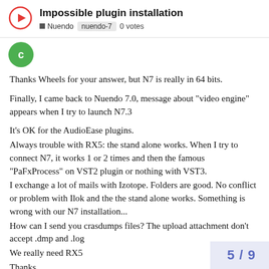Impossible plugin installation | Nuendo  nuendo-7  0 votes
[Figure (illustration): Green avatar circle with letter C]
Thanks Wheels for your answer, but N7 is really in 64 bits.
Finally, I came back to Nuendo 7.0, message about "video engine" appears when I try to launch N7.3
It's OK for the AudioEase plugins.
Always trouble with RX5: the stand alone works. When I try to connect N7, it works 1 or 2 times and then the famous "PaFxProcess" on VST2 plugin or nothing with VST3.
I exchange a lot of mails with Izotope. Folders are good. No conflict or problem with Ilok and the the stand alone works. Something is wrong with our N7 installation...
How can I send you crasdumps files? The upload attachment don't accept .dmp and .log
We really need RX5
Thanks
5 / 9